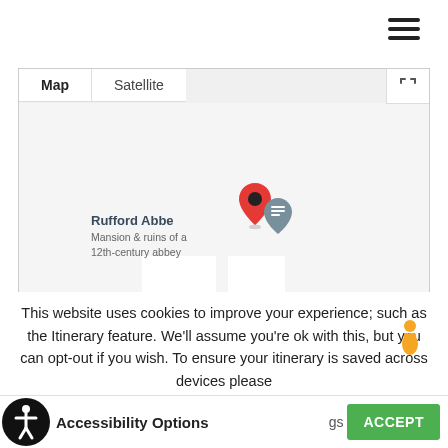[Figure (other): Hamburger menu icon (three horizontal lines) in top right corner]
[Figure (map): Google Maps embedded map showing 'Rufford Abbey - Mansion & ruins of a 12th-century abbey' with a red map pin and grey icon marker. Map/Satellite toggle buttons and fullscreen button visible. Yellow pegman figure in bottom right.]
This website uses cookies to improve your experience; such as the Itinerary feature. We'll assume you're ok with this, but you can opt-out if you wish. To ensure your itinerary is saved across devices please
[Figure (other): Accessibility icon - white wheelchair figure on black circle background]
Accessibility Options
ACCEPT